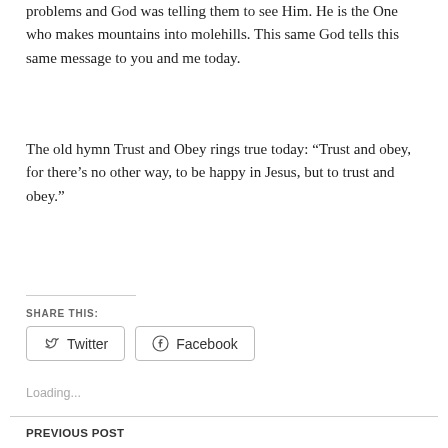problems and God was telling them to see Him. He is the One who makes mountains into molehills. This same God tells this same message to you and me today.
The old hymn Trust and Obey rings true today: “Trust and obey, for there’s no other way, to be happy in Jesus, but to trust and obey.”
SHARE THIS:
[Figure (other): Twitter and Facebook share buttons]
Loading...
PREVIOUS POST